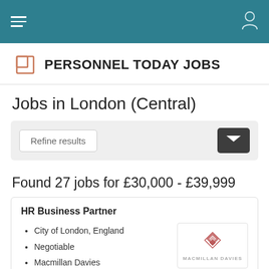Personnel Today Jobs - navigation bar
[Figure (logo): Personnel Today Jobs logo with P icon]
Jobs in London (Central)
Refine results | email icon button
Found 27 jobs for £30,000 - £39,999
HR Business Partner
City of London, England
Negotiable
Macmillan Davies
[Figure (logo): Macmillan Davies company logo with diamond/geometric icon]